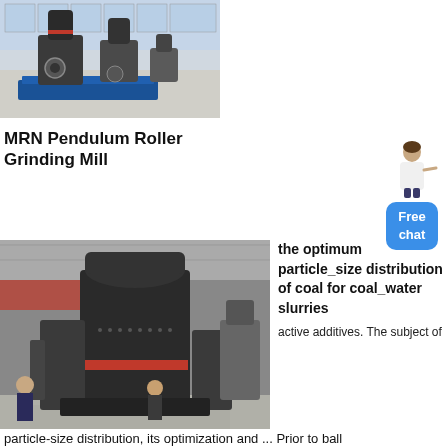[Figure (photo): Industrial grinding mill equipment (MRN Pendulum Roller Grinding Mill) inside a large factory hall]
MRN Pendulum Roller Grinding Mill
[Figure (photo): Large industrial pendulum roller grinding mill machine inside a factory with workers standing nearby]
the optimum particle_size distribution of coal for coal_water slurries
active additives. The subject of particle-size distribution, its optimization and ... Prior to ball